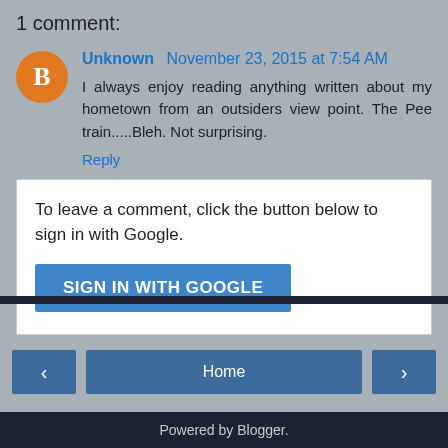1 comment:
Unknown November 23, 2015 at 7:54 AM
I always enjoy reading anything written about my hometown from an outsiders view point. The Pee train.....Bleh. Not surprising.
Reply
To leave a comment, click the button below to sign in with Google.
SIGN IN WITH GOOGLE
Home
View web version
Powered by Blogger.